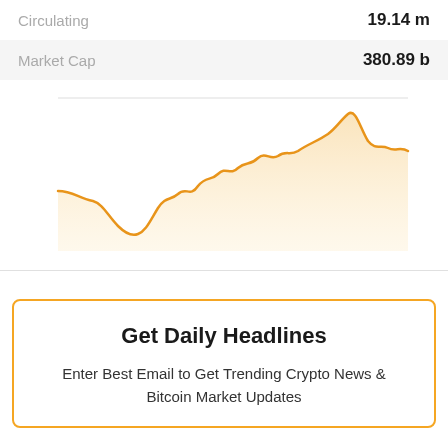| Circulating | 19.14 m |
| Market Cap | 380.89 b |
[Figure (area-chart): Bitcoin price area chart with orange line and light orange fill, showing an upward trend with peaks and dips]
Get Daily Headlines
Enter Best Email to Get Trending Crypto News & Bitcoin Market Updates